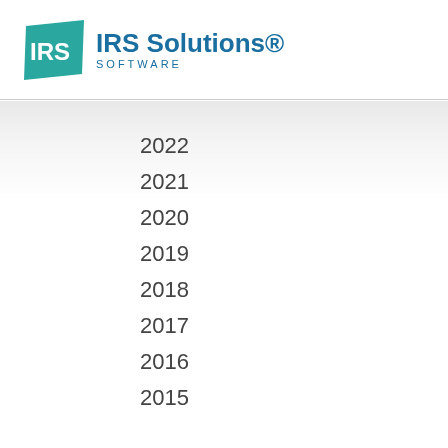[Figure (logo): IRS Solutions Software logo with teal parallelogram icon and blue text]
2022
2021
2020
2019
2018
2017
2016
2015